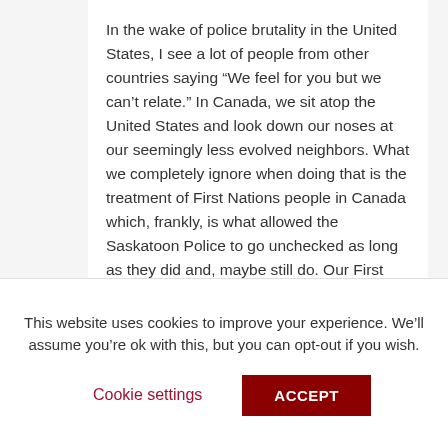In the wake of police brutality in the United States, I see a lot of people from other countries saying “We feel for you but we can’t relate.” In Canada, we sit atop the United States and look down our noses at our seemingly less evolved neighbors. What we completely ignore when doing that is the treatment of First Nations people in Canada which, frankly, is what allowed the Saskatoon Police to go unchecked as long as they did and, maybe still do. Our First Nations people don’t have potable drinking water and scores of women go missing without the
This website uses cookies to improve your experience. We’ll assume you’re ok with this, but you can opt-out if you wish.
Cookie settings    ACCEPT